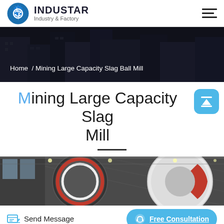INDUSTAR Industry & Factory
[Figure (photo): Dark building/cityscape hero banner background]
Home / Mining Large Capacity Slag Ball Mill
Mining Large Capacity Slag Mill
[Figure (photo): Industrial mill machinery inside a factory hall — large red and white circular drum components]
Send Message
Free Consultation